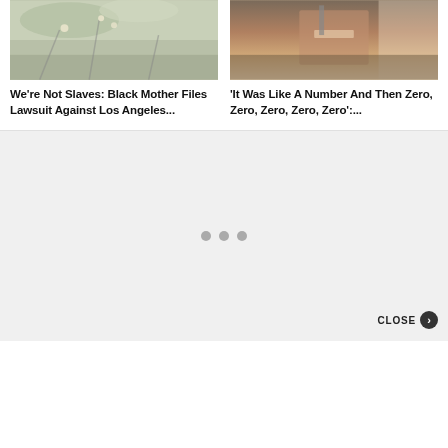[Figure (photo): Photo of tree branches with blossoms against sky, associated with Black Mother lawsuit article]
We're Not Slaves: Black Mother Files Lawsuit Against Los Angeles...
[Figure (photo): Photo of a person at a podium with a microphone, sign visible in background]
'It Was Like A Number And Then Zero, Zero, Zero, Zero, Zero':...
[Figure (other): Advertisement loading area with three gray dots loading indicator and CLOSE button]